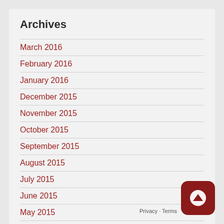Archives
March 2016
February 2016
January 2016
December 2015
November 2015
October 2015
September 2015
August 2015
July 2015
June 2015
May 2015
April 2015
March 2015
February 2015